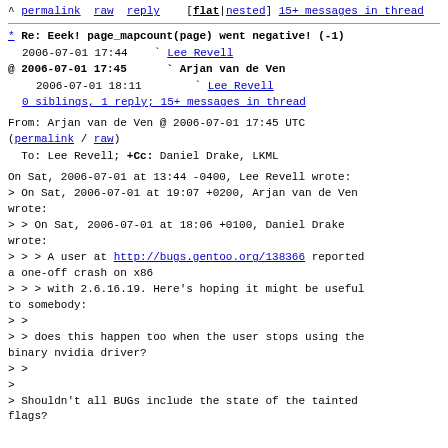^ permalink  raw  reply    [flat|nested] 15+ messages in thread
* Re: Eeek! page_mapcount(page) went negative! (-1)
2006-07-01 17:44   ` Lee Revell
@ 2006-07-01 17:45     ` Arjan van de Ven
  2006-07-01 18:11       ` Lee Revell
  0 siblings, 1 reply; 15+ messages in thread
From: Arjan van de Ven @ 2006-07-01 17:45 UTC
(permalink / raw)
  To: Lee Revell; +Cc: Daniel Drake, LKML
On Sat, 2006-07-01 at 13:44 -0400, Lee Revell wrote:
> On Sat, 2006-07-01 at 19:07 +0200, Arjan van de Ven wrote:
> > On Sat, 2006-07-01 at 18:06 +0100, Daniel Drake wrote:
> > > A user at http://bugs.gentoo.org/138366 reported a one-off crash on x86
> > > with 2.6.16.19. Here's hoping it might be useful to somebody:
> >
> > does this happen too when the user stops using the binary nvidia driver?
> >
>
> Shouldn't all BUGs include the state of the tainted flags?